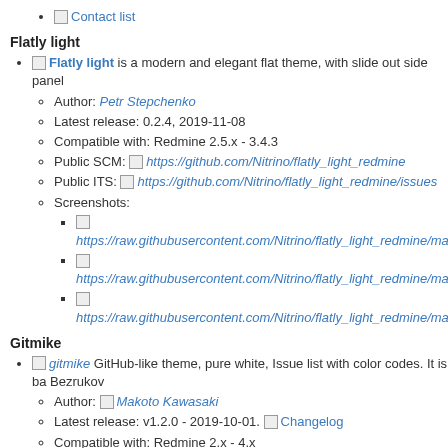Contact list
Flatly light
Flatly light is a modern and elegant flat theme, with slide out side panel
Author: Petr Stepchenko
Latest release: 0.2.4, 2019-11-08
Compatible with: Redmine 2.5.x - 3.4.3
Public SCM: https://github.com/Nitrino/flatly_light_redmine
Public ITS: https://github.com/Nitrino/flatly_light_redmine/issues
Screenshots:
https://raw.githubusercontent.com/Nitrino/flatly_light_redmine/mas
https://raw.githubusercontent.com/Nitrino/flatly_light_redmine/mas
https://raw.githubusercontent.com/Nitrino/flatly_light_redmine/mas
Gitmike
gitmike GitHub-like theme, pure white, Issue list with color codes. It is ba Bezrukov
Author: Makoto Kawasaki
Latest release: v1.2.0 - 2019-10-01. Changelog
Compatible with: Redmine 2.x - 4.x
Public SCM: https://github.com/makotokw/redmine-theme-gitmike
Public ITS: https://github.com/makotokw/redmine-theme-gitmike/issu
Screen shot: Image
minimalflat2
minimalflat2 is Minimal and Flat. Responsive (Redmine 3.2 onwards). M Expandable tree view of the project list,
Support: Redmine v4.0.4 or later
Author: akabeko
Latest release: v1.6.1 - 2019/7/17